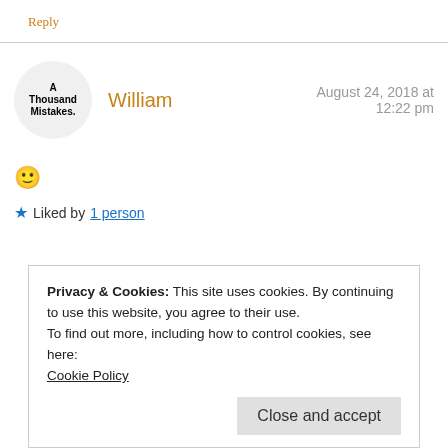Reply
William — August 24, 2018 at 12:22 pm
🙂
★ Liked by 1 person
Privacy & Cookies: This site uses cookies. By continuing to use this website, you agree to their use.
To find out more, including how to control cookies, see here:
Cookie Policy
Close and accept